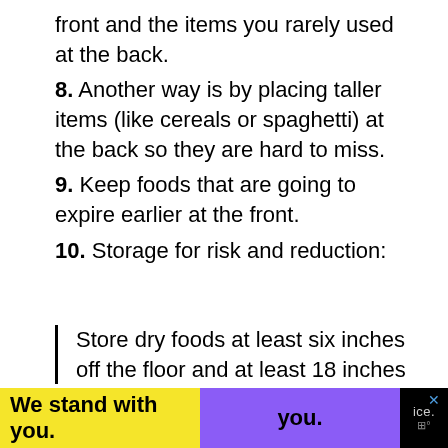front and the items you rarely used at the back.
8. Another way is by placing taller items (like cereals or spaghetti) at the back so they are hard to miss.
9. Keep foods that are going to expire earlier at the front.
10. Storage for risk and reduction:
Store dry foods at least six inches off the floor and at least 18 inches
We stand with you.